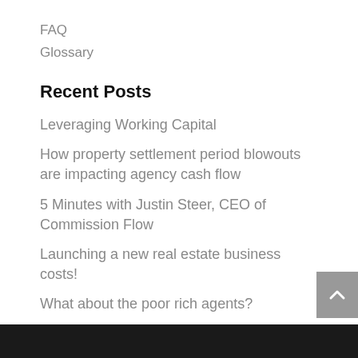FAQ
Glossary
Recent Posts
Leveraging Working Capital
How property settlement period blowouts are impacting agency cash flow
5 Minutes with Justin Steer, CEO of Commission Flow
Launching a new real estate business costs!
What about the poor rich agents?